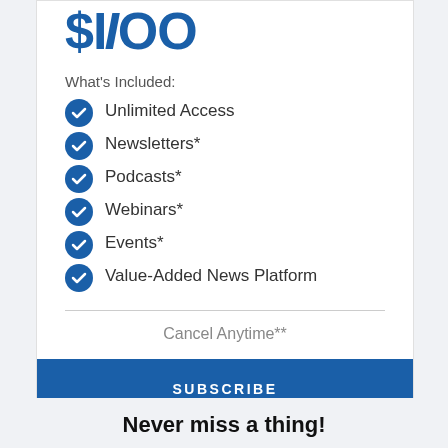What's Included:
Unlimited Access
Newsletters*
Podcasts*
Webinars*
Events*
Value-Added News Platform
Cancel Anytime**
SUBSCRIBE
Never miss a thing!